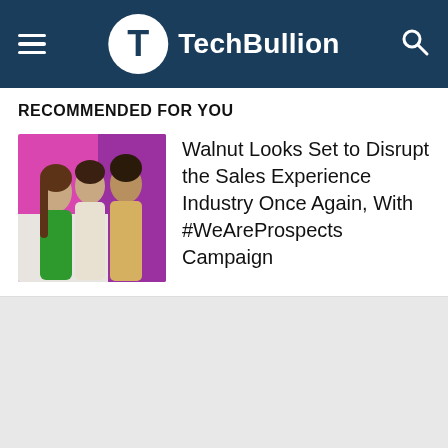TechBullion
RECOMMENDED FOR YOU
[Figure (photo): Three people posing against a bright purple/magenta background with colorful outfits]
Walnut Looks Set to Disrupt the Sales Experience Industry Once Again, With #WeAreProspects Campaign
Share This